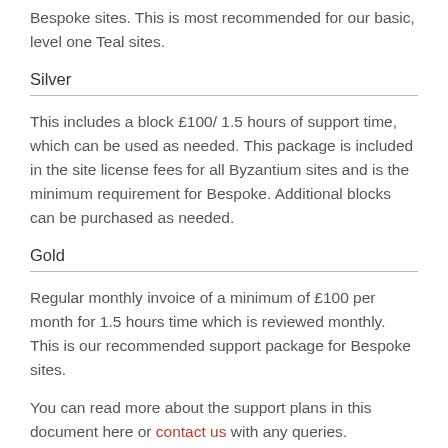Bespoke sites. This is most recommended for our basic, level one Teal sites.
Silver
This includes a block £100/ 1.5 hours of support time, which can be used as needed. This package is included in the site license fees for all Byzantium sites and is the minimum requirement for Bespoke. Additional blocks can be purchased as needed.
Gold
Regular monthly invoice of a minimum of £100 per month for 1.5 hours time which is reviewed monthly. This is our recommended support package for Bespoke sites.
You can read more about the support plans in this document here or contact us with any queries.